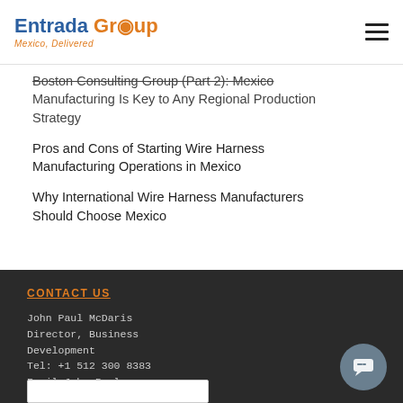Entrada Group — Mexico, Delivered
Boston Consulting Group (Part 2): Mexico Manufacturing Is Key to Any Regional Production Strategy
Pros and Cons of Starting Wire Harness Manufacturing Operations in Mexico
Why International Wire Harness Manufacturers Should Choose Mexico
CONTACT US
John Paul McDaris
Director, Business Development
Tel: +1 512 300 8383
Email John Paul